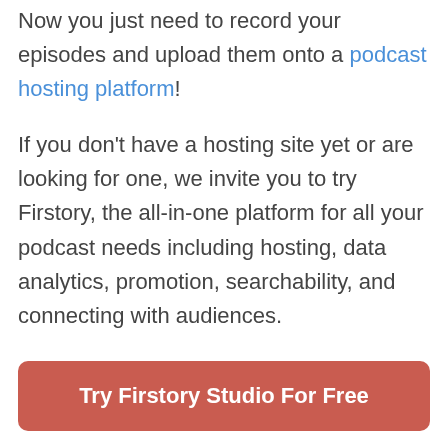Now you just need to record your episodes and upload them onto a podcast hosting platform!
If you don’t have a hosting site yet or are looking for one, we invite you to try Firstory, the all-in-one platform for all your podcast needs including hosting, data analytics, promotion, searchability, and connecting with audiences.
[Figure (other): Red CTA button labeled 'Try Firstory Studio For Free']
[Figure (other): Row of social media icon circles in blue, light blue, teal, red, and green]